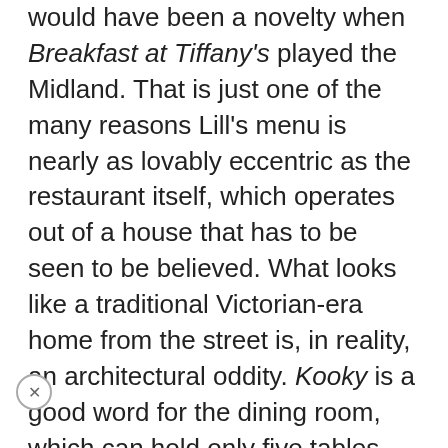would have been a novelty when Breakfast at Tiffany's played the Midland. That is just one of the many reasons Lill's menu is nearly as lovably eccentric as the restaurant itself, which operates out of a house that has to be seen to be believed. What looks like a traditional Victorian-era home from the street is, in reality, an architectural oddity. Kooky is a good word for the dining room, which can hold only five tables (enough to seat 16 people, more or less) and is paneled with rough-hewn wood salvaged from an 1850 building. It's a cozy and intimate space, maybe just a shade claustrophobic.
The restaurant was still known by its previous name, Lillies on 17th, when I reviewed it nearly